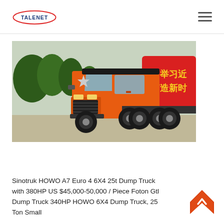TALENET [logo with hamburger menu]
[Figure (photo): Orange Sinotruk HOWO heavy duty truck (tractor unit/semi-truck) photographed outdoors in a paved area with trees and a red Chinese banner in the background with yellow Chinese characters.]
Sinotruk HOWO A7 Euro 4 6X4 25t Dump Truck with 380HP US $45,000-50,000 / Piece Foton Gtl Dump Truck 340HP HOWO 6X4 Dump Truck, 25 Ton Small